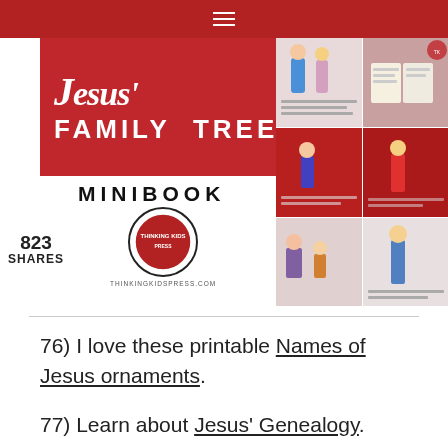Navigation menu bar
[Figure (photo): Jesus' Family Tree Minibook promotional image with logo banner on red background and collage of illustrated minibook pages showing biblical figures]
823 SHARES
76) I love these printable Names of Jesus ornaments.
77) Learn about Jesus' Genealogy.